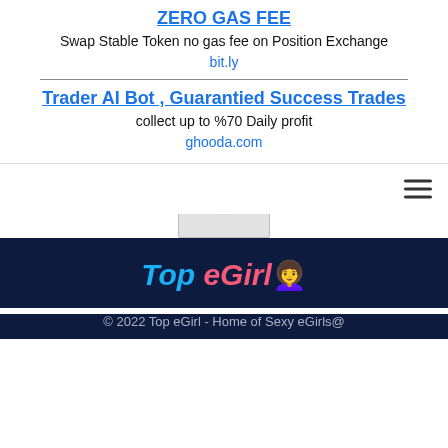ZERO GAS FEE
Swap Stable Token no gas fee on Position Exchange
bit.ly
Trader AI Bot , Guarantied Success Trades
collect up to %70 Daily profit
ghooda.com
[Figure (logo): Top eGirl logo with blonde girl emoji]
© 2022 Top eGirl - Home of Sexy eGirls@